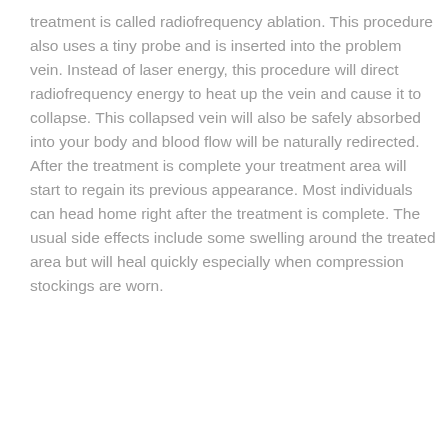treatment is called radiofrequency ablation. This procedure also uses a tiny probe and is inserted into the problem vein. Instead of laser energy, this procedure will direct radiofrequency energy to heat up the vein and cause it to collapse. This collapsed vein will also be safely absorbed into your body and blood flow will be naturally redirected. After the treatment is complete your treatment area will start to regain its previous appearance. Most individuals can head home right after the treatment is complete. The usual side effects include some swelling around the treated area but will heal quickly especially when compression stockings are worn.